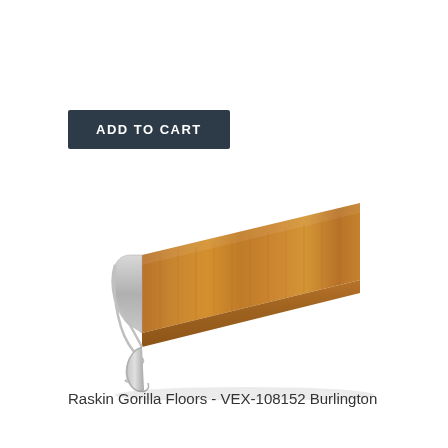ADD TO CART
[Figure (photo): A stair nose / step edge molding strip with a warm wood-grain finish (medium brown/amber oak color) and silver aluminum edge profile, shown in perspective view.]
Raskin Gorilla Floors - VEX-108152 Burlington